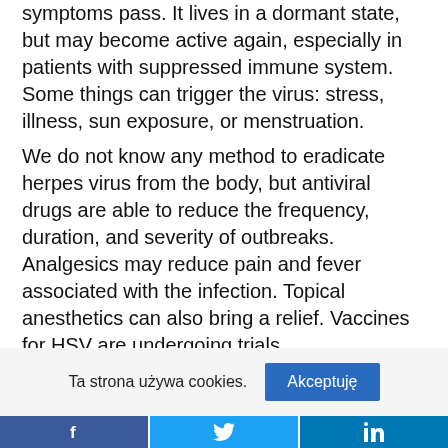symptoms pass. It lives in a dormant state, but may become active again, especially in patients with suppressed immune system. Some things can trigger the virus: stress, illness, sun exposure, or menstruation. We do not know any method to eradicate herpes virus from the body, but antiviral drugs are able to reduce the frequency, duration, and severity of outbreaks. Analgesics may reduce pain and fever associated with the infection. Topical anesthetics can also bring a relief. Vaccines for HSV are undergoing trials.
Ta strona używa cookies. Akceptuję
Facebook Twitter LinkedIn